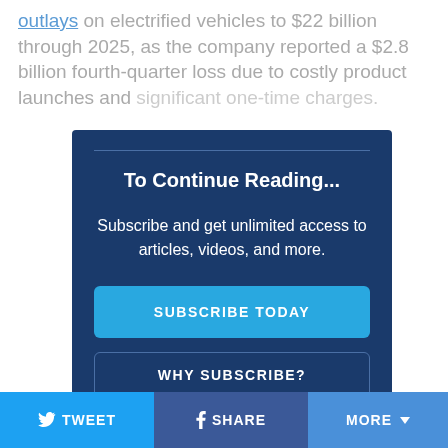outlays on electrified vehicles to $22 billion through 2025, as the company reported a $2.8 billion fourth-quarter loss due to costly product launches and significant one-time charges.
To Continue Reading...
Subscribe and get unlimited access to articles, videos, and more.
SUBSCRIBE TODAY
WHY SUBSCRIBE?
TWEET  SHARE  MORE